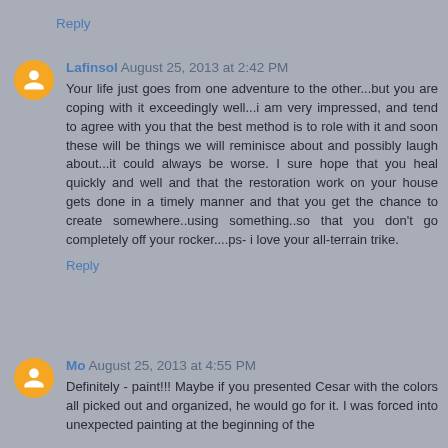Reply
Lafinsol  August 25, 2013 at 2:42 PM
Your life just goes from one adventure to the other...but you are coping with it exceedingly well...i am very impressed, and tend to agree with you that the best method is to role with it and soon these will be things we will reminisce about and possibly laugh about...it could always be worse. I sure hope that you heal quickly and well and that the restoration work on your house gets done in a timely manner and that you get the chance to create somewhere..using something..so that you don't go completely off your rocker....ps- i love your all-terrain trike.
Reply
Mo  August 25, 2013 at 4:55 PM
Definitely - paint!!! Maybe if you presented Cesar with the colors all picked out and organized, he would go for it. I was forced into unexpected painting at the beginning of the